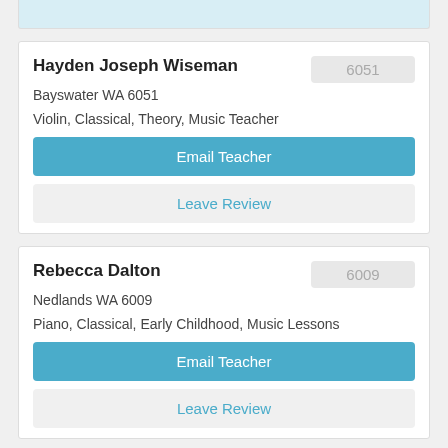Hayden Joseph Wiseman
Bayswater WA 6051
Violin, Classical, Theory, Music Teacher
Email Teacher
Leave Review
Rebecca Dalton
Nedlands WA 6009
Piano, Classical, Early Childhood, Music Lessons
Email Teacher
Leave Review
Martina Donoghue